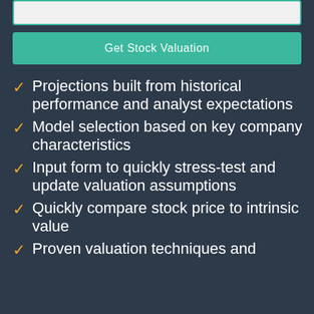[Figure (screenshot): Partial input bar at top of page, light gray background with teal border]
Get Stock Valuation
Projections built from historical performance and analyst expectations
Model selection based on key company characteristics
Input form to quickly stress-test and update valuation assumptions
Quickly compare stock price to intrinsic value
Proven valuation techniques and